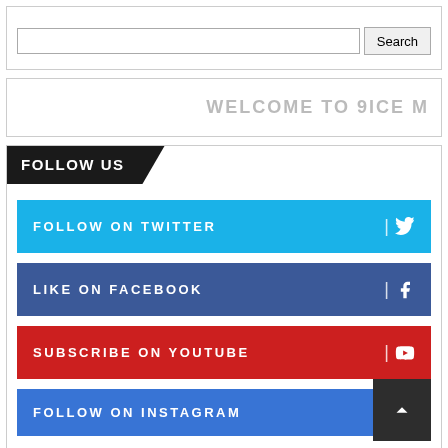[Figure (screenshot): Search box with text input and Search button]
WELCOME TO 9ICE M
FOLLOW US
FOLLOW ON TWITTER
LIKE ON FACEBOOK
SUBSCRIBE ON YOUTUBE
FOLLOW ON INSTAGRAM